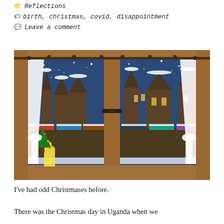Reflections
birth, christmas, covid, disappointment
Leave a comment
[Figure (photo): A wooden window frame with white curtains tied back on both sides, looking out onto a snowy Christmas market scene at night with illuminated gothic buildings, market stalls, and a glowing candle on the windowsill.]
I've had odd Christmases before.
There was the Christmas day in Uganda when we